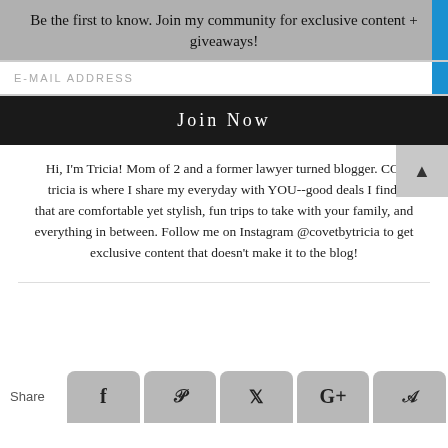Be the first to know. Join my community for exclusive content + giveaways!
E-MAIL ADDRESS
Join Now
Hi, I'm Tricia! Mom of 2 and a former lawyer turned blogger. CO' tricia is where I share my everyday with YOU--good deals I find, that are comfortable yet stylish, fun trips to take with your family, and everything in between. Follow me on Instagram @covetbytricia to get exclusive content that doesn't make it to the blog!
Share